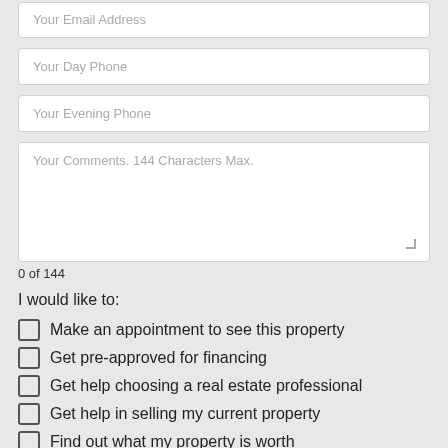Your Email Address
Your Day Phone
Your Evening Phone
Your Comments. 144 Characters Max.
0 of 144
I would like to:
Make an appointment to see this property
Get pre-approved for financing
Get help choosing a real estate professional
Get help in selling my current property
Find out what my property is worth
Find out how much property I can afford